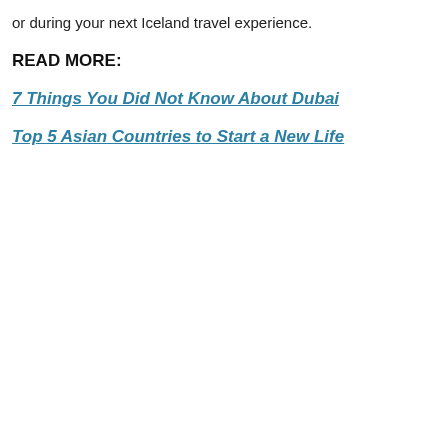or during your next Iceland travel experience.
READ MORE:
7 Things You Did Not Know About Dubai
Top 5 Asian Countries to Start a New Life